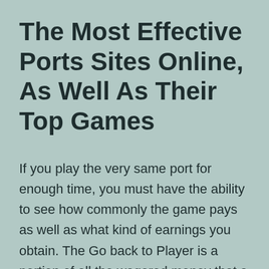The Most Effective Ports Sites Online, As Well As Their Top Games
If you play the very same port for enough time, you must have the ability to see how commonly the game pays as well as what kind of earnings you obtain. The Go back to Player is a portion of all the wagered money that a slot repays to its players. Play cost-free slots online as well as play the same Las vega slots